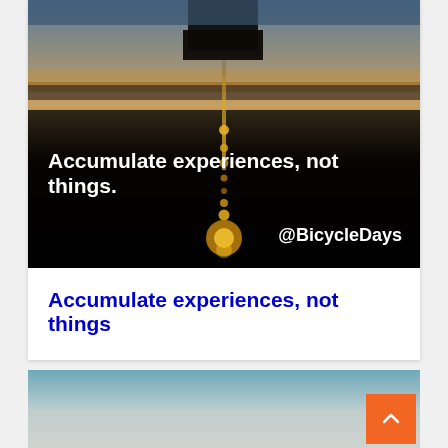[Figure (photo): Dark silhouette photo of a person holding something with water droplets or bokeh lights falling vertically against a sunset sky background. White bold text overlay reads: 'Accumulate experiences, not things.' with '@BicycleDays' in the bottom right.]
Accumulate experiences, not things
[Figure (photo): Hazy blue-grey gradient sky/landscape photo, partially visible at bottom of page.]